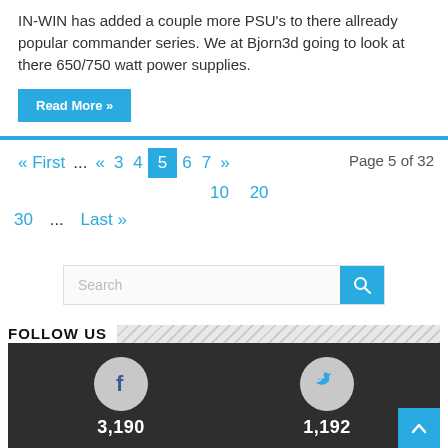IN-WIN has added a couple more PSU's to there allready popular commander series. We at Bjorn3d going to look at there 650/750 watt power supplies.
Read More »
« First  ...  «  3  4  5  6  7  »  Page 5 of 32
10  20
30  ...  Last »
[Figure (screenshot): Search bar with a light blue search button containing a magnifying glass icon]
FOLLOW US
[Figure (infographic): Dark background social media follower counts: Facebook icon with 3,190 and Twitter icon with 1,192, plus a blue back-to-top arrow button]